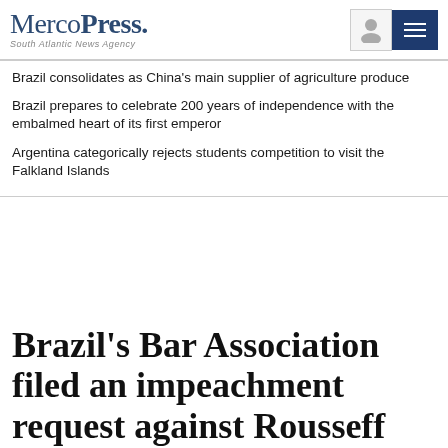MercoPress. South Atlantic News Agency
Brazil consolidates as China's main supplier of agriculture produce
Brazil prepares to celebrate 200 years of independence with the embalmed heart of its first emperor
Argentina categorically rejects students competition to visit the Falkland Islands
Brazil's Bar Association filed an impeachment request against Rousseff for obstruction of justice